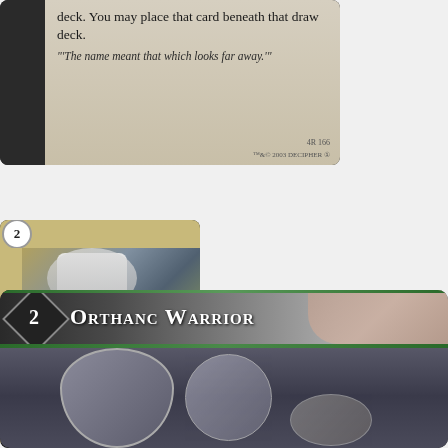[Figure (illustration): Top portion of a Lord of the Rings Trading Card Game card showing card text: 'deck. You may place that card beneath that draw deck.' with flavor text: 'The name meant that which looks far away.' Card ID: 4R 166]
[Figure (illustration): Lord of the Rings Trading Card Game card: Gandalf's Staff, Walking Stick. Artifact + Staff. Cost 2, +1 bonus. Bearer must be Gandalf. While you can spot 2 twilight tokens, Gandalf is damage +2. Shows image of Gandalf the White in white robes.]
[Figure (illustration): Bottom portion of a Lord of the Rings Trading Card Game card: Orthanc Warrior. Cost 2. Shows armored warrior imagery with a raised hand visible.]